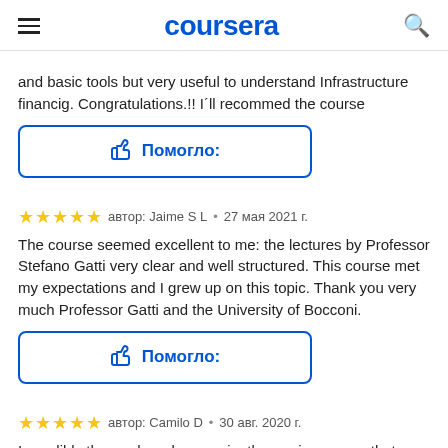coursera
and basic tools but very useful to understand Infrastructure financig. Congratulations.!! I´ll recommed the course
[Figure (other): Helpful button with thumbs up icon and text Помогло:]
автор: Jaime S L • 27 мая 2021 г.
The course seemed excellent to me: the lectures by Professor Stefano Gatti very clear and well structured. This course met my expectations and I grew up on this topic. Thank you very much Professor Gatti and the University of Bocconi.
[Figure (other): Helpful button with thumbs up icon and text Помогло:]
автор: Camilo D • 30 авг. 2020 г.
Incredibly thorough and conveniently concise course that